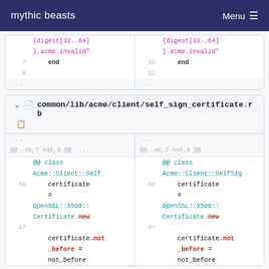mythic beasts   Menu
[Figure (screenshot): Code diff showing two panes with lines 7-8 and 10-11, containing end keyword and ellipsis rows for a Ruby file diff]
common/lib/acme/client/self_sign_certificate.rb
[Figure (screenshot): Code diff for common/lib/acme/client/self_sign_certificate.rb showing @@ -46,7 +46,9 @@ class Acme::Client::SelfSign... with lines 46-47 showing certificate = OpenSSL::X509::Certificate.new and certificate.not_before = not_before]